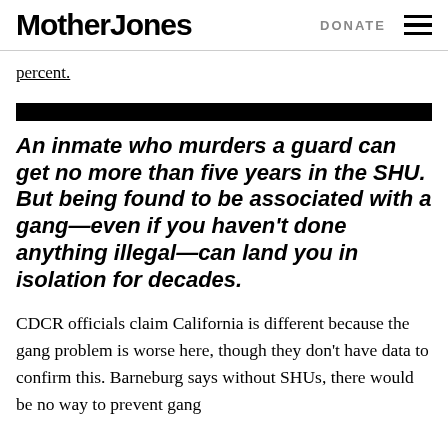Mother Jones  DONATE
percent.
[Figure (other): Black horizontal decorative bar divider]
An inmate who murders a guard can get no more than five years in the SHU. But being found to be associated with a gang—even if you haven't done anything illegal—can land you in isolation for decades.
CDCR officials claim California is different because the gang problem is worse here, though they don't have data to confirm this. Barneburg says without SHUs, there would be no way to prevent gang